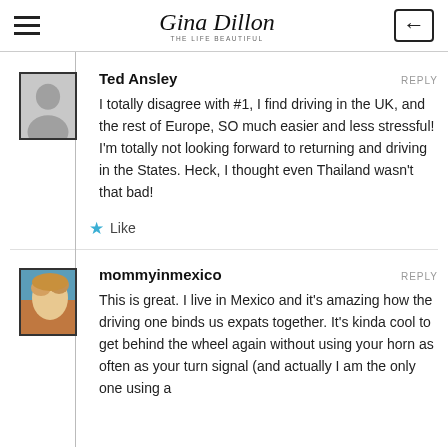Gina Dillon — The Life Beautiful
Ted Ansley
REPLY
I totally disagree with #1, I find driving in the UK, and the rest of Europe, SO much easier and less stressful! I'm totally not looking forward to returning and driving in the States. Heck, I thought even Thailand wasn't that bad!
★ Like
mommyinmexico
REPLY
This is great. I live in Mexico and it's amazing how the driving one binds us expats together. It's kinda cool to get behind the wheel again without using your horn as often as your turn signal (and actually I am the only one using a